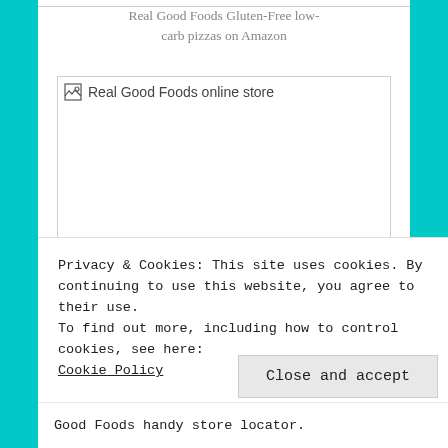Real Good Foods Gluten-Free low-carb pizzas on Amazon
[Figure (photo): Real Good Foods online store — broken image placeholder with alt text]
Privacy & Cookies: This site uses cookies. By continuing to use this website, you agree to their use.
To find out more, including how to control cookies, see here:
Cookie Policy
Close and accept
Good Foods handy store locator.